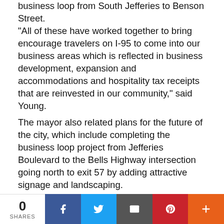business loop from South Jefferies to Benson Street. "All of these have worked together to bring encourage travelers on I-95 to come into our business areas which is reflected in business development, expansion and accommodations and hospitality tax receipts that are reinvested in our community," said Young.
The mayor also related plans for the future of the city, which include completing the business loop project from Jefferies Boulevard to the Bells Highway intersection going north to exit 57 by adding attractive signage and landscaping.
An additional project is the Ireland Creek Master Plan. The city has plans transform Ireland Creek between the bridges on West Washington Street and North Jefferies Boulevard into a green space for residents. Equipment has been acquired to make the changes.
“The idea is to make it an amenity resembling a park that would be a very nice gateway to the sanctuary,”
0 SHARES | Facebook | Twitter | Email | Pinterest | More